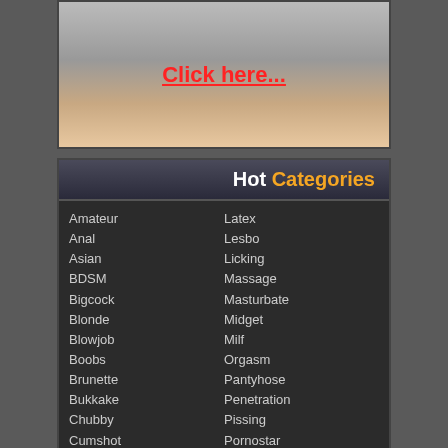[Figure (photo): Banner image with 'Click here...' text link in red]
Hot Categories
Amateur
Anal
Asian
BDSM
Bigcock
Blonde
Blowjob
Boobs
Brunette
Bukkake
Chubby
Cumshot
Deepthroat
Dildo
Domination
Drunk
Ebony
Fetish
Fisting
Fucking
Gallery
Latex
Lesbo
Licking
Massage
Masturbate
Midget
Milf
Orgasm
Pantyhose
Penetration
Pissing
Pornostar
Pussy
Redhead
Schoolgirl
Shaved
Shemale
Shower
Slut
Solo
Spank